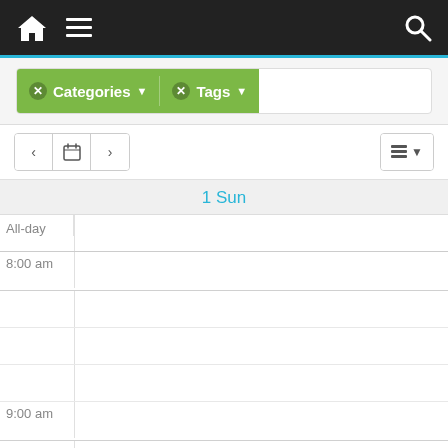[Figure (screenshot): Mobile calendar app navigation bar with home icon, hamburger menu, and search icon on dark background with blue accent stripe]
[Figure (screenshot): Calendar filter bar with green Categories and Tags filter buttons with dropdown arrows]
[Figure (screenshot): Calendar navigation buttons with back, calendar, forward arrows and list view toggle]
1 Sun
All-day
8:00 am
9:00 am
10:00 am
11:00 am
12:00 pm